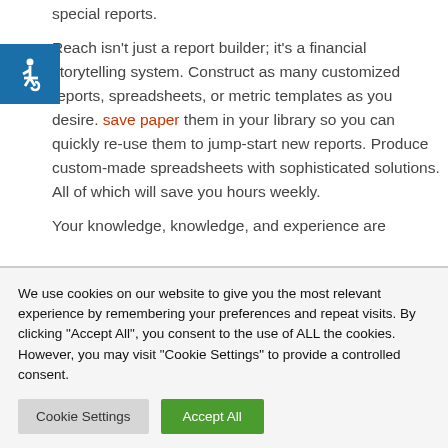special reports. Reach isn't just a report builder; it's a financial storytelling system. Construct as many customized reports, spreadsheets, or metric templates as you desire. save paper them in your library so you can quickly re-use them to jump-start new reports. Produce custom-made spreadsheets with sophisticated solutions. All of which will save you hours weekly. Your knowledge, knowledge, and experience are
[Figure (illustration): Blue square accessibility icon with wheelchair symbol in white]
We use cookies on our website to give you the most relevant experience by remembering your preferences and repeat visits. By clicking "Accept All", you consent to the use of ALL the cookies. However, you may visit "Cookie Settings" to provide a controlled consent.